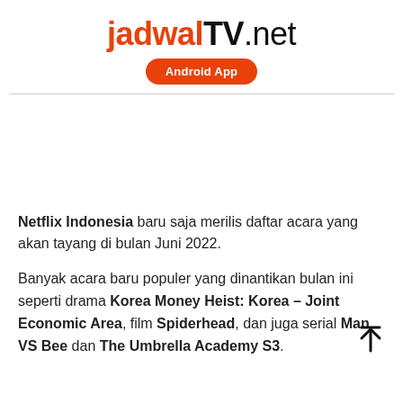jadwalTV.net Android App
Netflix Indonesia baru saja merilis daftar acara yang akan tayang di bulan Juni 2022.
Banyak acara baru populer yang dinantikan bulan ini seperti drama Korea Money Heist: Korea – Joint Economic Area, film Spiderhead, dan juga serial Man VS Bee dan The Umbrella Academy S3.